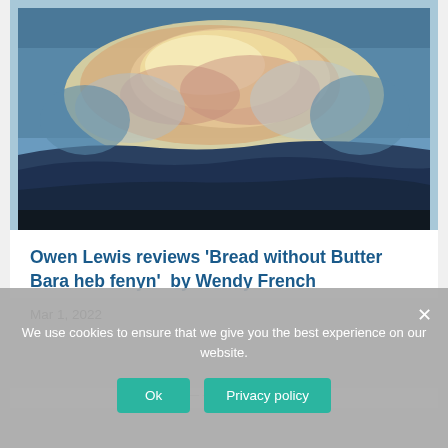[Figure (illustration): Impressionist-style painting of a large luminous cloud in pinks, yellows and oranges against a blue sky, with dark blue hills/landscape in the lower portion.]
Owen Lewis reviews ‘Bread without Butter Bara heb fenyn’  by Wendy French
Mar 1, 2022
We use cookies to ensure that we give you the best experience on our website.